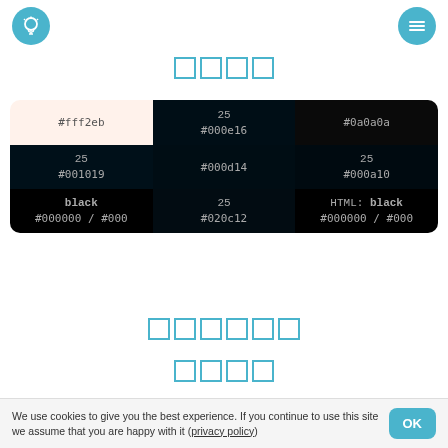[Figure (infographic): Light bulb icon in blue circle (top left)]
[Figure (infographic): Hamburger menu icon in blue circle (top right)]
□□□□ (CJK characters rendered as tofu)
| #fff2eb | 25 / #000e16 | #0a0a0a |
| --- | --- | --- |
| #fff2eb | 25
#000e16 | #0a0a0a |
| 25
#001019 | #000d14 | 25
#000a10 |
| black
#000000 / #000 | 25
#020c12 | HTML: black
#000000 / #000 |
□□□□□□ (CJK characters)
□□□□ (CJK characters)
We use cookies to give you the best experience. If you continue to use this site we assume that you are happy with it (privacy policy)